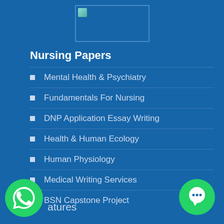[Figure (logo): Logo image placeholder box with small green/teal icon in top-left corner]
Nursing Papers
Mental Health & Psychiatry
Fundamentals For Nursing
DNP Application Essay Writing
Health & Human Ecology
Human Physiology
Medical Writing Services
BSN Capstone Project
[Figure (illustration): WhatsApp green circle icon at bottom left]
atures
[Figure (illustration): Green chat/message circle icon at bottom right]